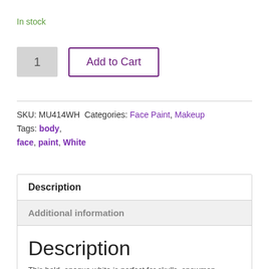In stock
1   Add to Cart
SKU: MU414WH  Categories: Face Paint, Makeup  Tags: body, face, paint, White
| Description |
| Additional information |
| Description
This bold, opaque white is perfect for skulls, snowmen, |
Description
This bold, opaque white is perfect for skulls, snowmen,